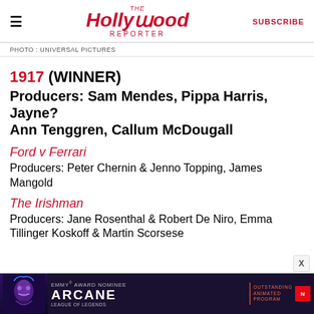THE Hollywood REPORTER | SUBSCRIBE
PHOTO : UNIVERSAL PICTURES
1917 (WINNER)
Producers: Sam Mendes, Pippa Harris, Jayne? Ann Tenggren, Callum McDougall
Ford v Ferrari
Producers: Peter Chernin & Jenno Topping, James Mangold
The Irishman
Producers: Jane Rosenthal & Robert De Niro, Emma Tillinger Koskoff & Martin Scorsese
[Figure (other): Advertisement banner for Arcane: Emmy Award Nominee, Outstanding Animated Program, League of Legends, Netflix]